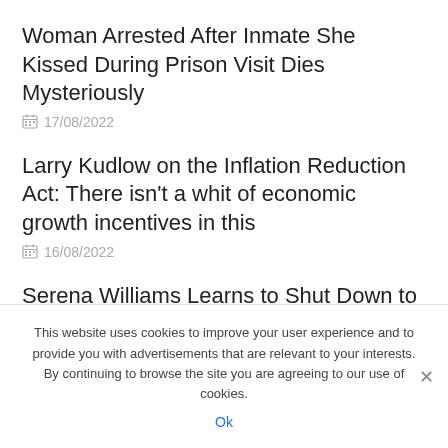Woman Arrested After Inmate She Kissed During Prison Visit Dies Mysteriously
17/08/2022
Larry Kudlow on the Inflation Reduction Act: There isn't a whit of economic growth incentives in this
16/08/2022
Serena Williams Learns to Shut Down to
This website uses cookies to improve your user experience and to provide you with advertisements that are relevant to your interests. By continuing to browse the site you are agreeing to our use of cookies.
Ok